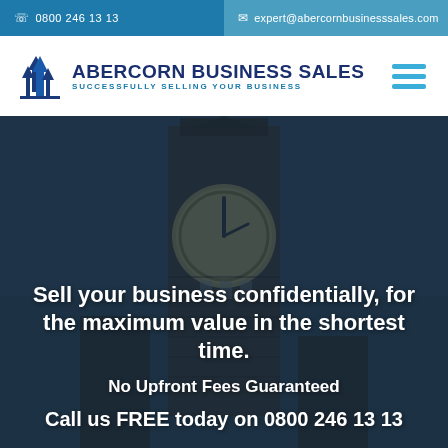0800 246 13 13 | expert@abercornbusinesssales.com
[Figure (logo): Abercorn Business Sales logo with upward arrow icon and text 'ABERCORN BUSINESS SALES / SUCCESSFULLY SELLING YOUR BUSINESS']
[Figure (photo): Big Ben / Elizabeth Tower clock tower in London at dusk, overlaid with dark blue semi-transparent overlay]
Sell your business confidentially, for the maximum value in the shortest time.
No Upfront Fees Guaranteed
Call us FREE today on 0800 246 13 13